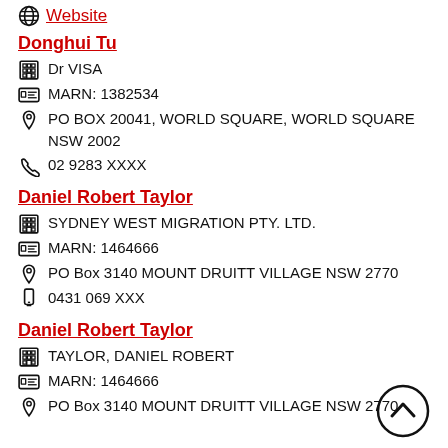Website
Donghui Tu
Dr VISA
MARN: 1382534
PO BOX 20041, WORLD SQUARE, WORLD SQUARE NSW 2002
02 9283 XXXX
Daniel Robert Taylor
SYDNEY WEST MIGRATION PTY. LTD.
MARN: 1464666
PO Box 3140 MOUNT DRUITT VILLAGE NSW 2770
0431 069 XXX
Daniel Robert Taylor
TAYLOR, DANIEL ROBERT
MARN: 1464666
PO Box 3140 MOUNT DRUITT VILLAGE NSW 2770